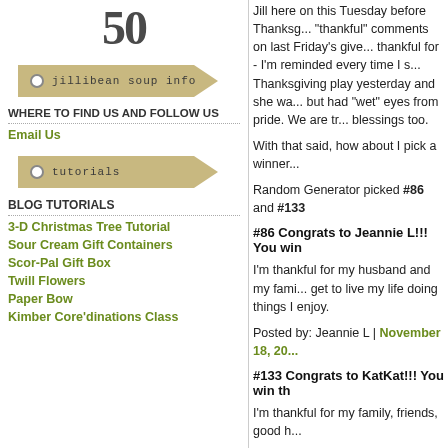[Figure (logo): Jillibean Soup logo showing '50' in large dark text]
[Figure (illustration): Banner ribbon graphic with dot: 'jillibean soup info']
WHERE TO FIND US AND FOLLOW US
Email Us
[Figure (illustration): Banner ribbon graphic with dot: 'tutorials']
BLOG TUTORIALS
3-D Christmas Tree Tutorial
Sour Cream Gift Containers
Scor-Pal Gift Box
Twill Flowers
Paper Bow
Kimber Core'dinations Class
Jill here on this Tuesday before Thanksgiving. I loved all your "thankful" comments on last Friday's giveaway.  I have so much to be thankful for - I'm reminded every time I see my kids.  Emma had her Thanksgiving play yesterday and she was so cute!  I hate to brag, but had "wet" eyes from pride.  We are truly blessed with many blessings too.
With that said, how about I pick a winner...
Random Generator picked #86 and #133
#86 Congrats to Jeannie L!!!  You win
I'm thankful for my husband and my family, my friends, and that I get to live my life doing things I enjoy.
Posted by: Jeannie L | November 18, 20...
#133 Congrats to KatKat!!!  You win th
I'm thankful for my family, friends, good h...
Posted by: Katkat | November 20, 2011
Congrats ladies!  When you get a minute email jill@jillibean-soup.com so we can get your info. Thanks again to everyone that left a comment.